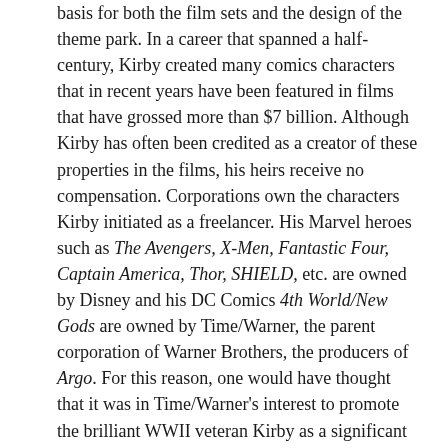basis for both the film sets and the design of the theme park. In a career that spanned a half-century, Kirby created many comics characters that in recent years have been featured in films that have grossed more than $7 billion. Although Kirby has often been credited as a creator of these properties in the films, his heirs receive no compensation. Corporations own the characters Kirby initiated as a freelancer. His Marvel heroes such as The Avengers, X-Men, Fantastic Four, Captain America, Thor, SHIELD, etc. are owned by Disney and his DC Comics 4th World/New Gods are owned by Time/Warner, the parent corporation of Warner Brothers, the producers of Argo. For this reason, one would have thought that it was in Time/Warner's interest to promote the brilliant WWII veteran Kirby as a significant contributor to this patriotic mission. But, no.
At first, Affleck's Argo production did seek to use Kirby's actual drawings in the film. Randolph Hoppe, curator of the Jack Kirby Museum explains: